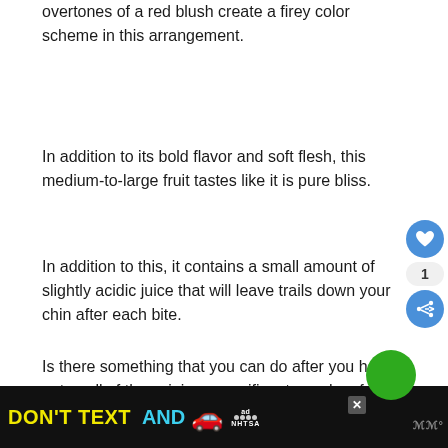overtones of a red blush create a firey color scheme in this arrangement.
In addition to its bold flavor and soft flesh, this medium-to-large fruit tastes like it is pure bliss.
In addition to this, it contains a small amount of slightly acidic juice that will leave trails down your chin after each bite.
Is there something that you can do after you have eaten all of these juicy, magnificent peaches fresh?
[Figure (other): Advertisement banner: DON'T TEXT AND [car emoji] with NHTSA branding on black background]
[Figure (other): UI overlay with heart/like button (blue circle), count badge showing 1, and share button (blue circle) on right side of page]